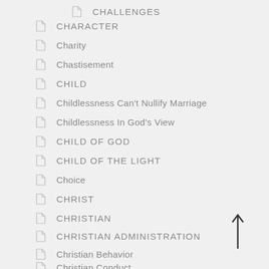CHALLENGES
CHARACTER
Charity
Chastisement
CHILD
Childlessness Can't Nullify Marriage
Childlessness In God's View
CHILD OF GOD
CHILD OF THE LIGHT
Choice
CHRIST
CHRISTIAN
CHRISTIAN ADMINISTRATION
Christian Behavior
Christian Conduct